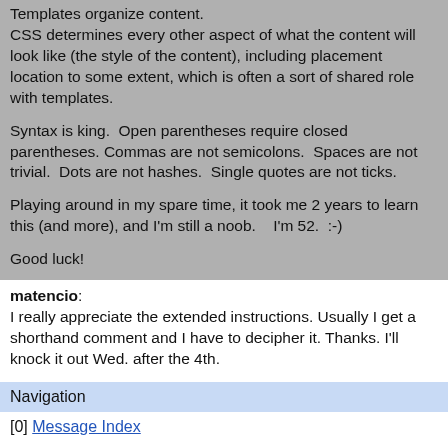Templates organize content.
CSS determines every other aspect of what the content will look like (the style of the content), including placement location to some extent, which is often a sort of shared role with templates.

Syntax is king.  Open parentheses require closed parentheses.  Commas are not semicolons.  Spaces are not trivial.  Dots are not hashes.  Single quotes are not ticks.

Playing around in my spare time, it took me 2 years to learn this (and more), and I'm still a noob.    I'm 52.  :-)

Good luck!
matencio: I really appreciate the extended instructions. Usually I get a shorthand comment and I have to decipher it. Thanks. I'll knock it out Wed. after the 4th.
Navigation
[0] Message Index
[#] Next page